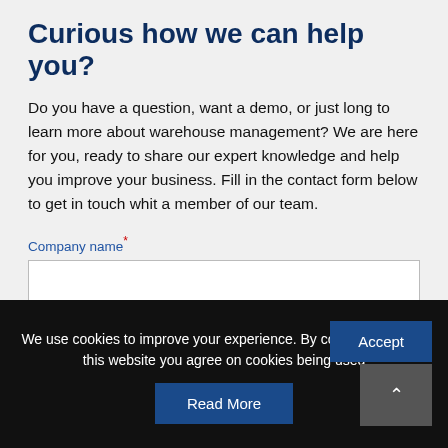Curious how we can help you?
Do you have a question, want a demo, or just long to learn more about warehouse management? We are here for you, ready to share our expert knowledge and help you improve your business. Fill in the contact form below to get in touch whit a member of our team.
Company name*
First name*
We use cookies to improve your experience. By continuing to use this website you agree on cookies being used
Accept
Read More